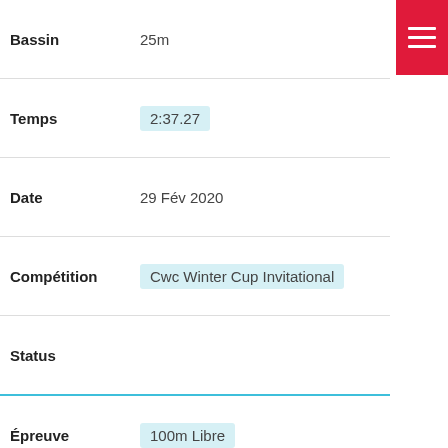| Field | Value |
| --- | --- |
| Bassin | 25m |
| Temps | 2:37.27 |
| Date | 29 Fév 2020 |
| Compétition | Cwc Winter Cup Invitational |
| Status |  |
| Épreuve | 100m Libre |
| Bassin | 50m |
| Temps | 1:09.88 |
| Date | 23 Fév 2020 |